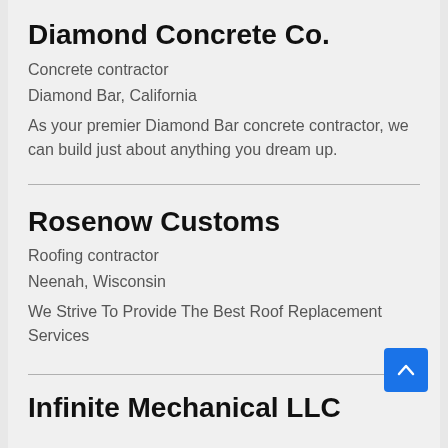Diamond Concrete Co.
Concrete contractor
Diamond Bar, California
As your premier Diamond Bar concrete contractor, we can build just about anything you dream up.
Rosenow Customs
Roofing contractor
Neenah, Wisconsin
We Strive To Provide The Best Roof Replacement Services
Infinite Mechanical LLC